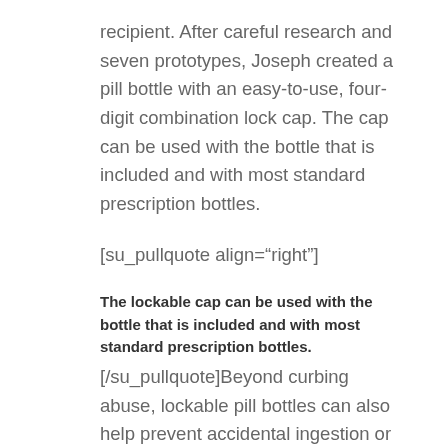recipient. After careful research and seven prototypes, Joseph created a pill bottle with an easy-to-use, four-digit combination lock cap. The cap can be used with the bottle that is included and with most standard prescription bottles.
[su_pullquote align="right"]
The lockable cap can be used with the bottle that is included and with most standard prescription bottles.
[/su_pullquote]Beyond curbing abuse, lockable pill bottles can also help prevent accidental ingestion or overdose by a curious young child.